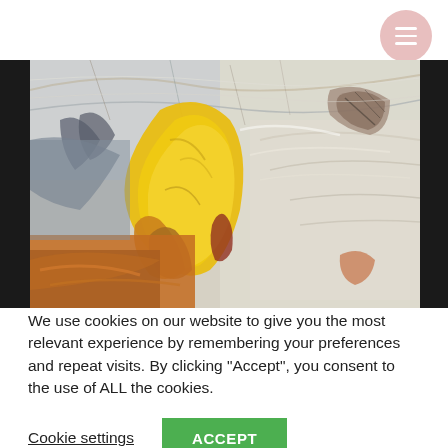[Figure (other): Hamburger menu button — pink/rose circular button with three white horizontal lines (menu icon), positioned top-right of the page]
[Figure (photo): Abstract expressionist painting with bold yellow, orange, rust-brown, grey-blue, and white brushstrokes on a textured canvas. The composition features a dominant vertical yellow mass on the left-center, with warm earthy tones at the bottom and lighter, more gestural marks on the right side.]
We use cookies on our website to give you the most relevant experience by remembering your preferences and repeat visits. By clicking "Accept", you consent to the use of ALL the cookies.
Cookie settings
ACCEPT